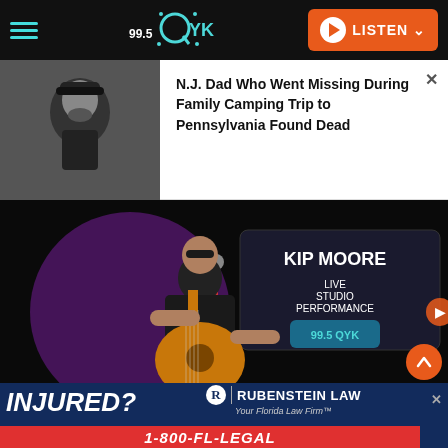99.5 QYK — LISTEN
[Figure (photo): Man wearing a dark cap and black t-shirt with beard, portrait photo]
N.J. Dad Who Went Missing During Family Camping Trip to Pennsylvania Found Dead
[Figure (photo): Man with sunglasses playing acoustic guitar on stage in front of a sign reading SKIP MOORE LIVE STUDIO PERFORMANCE with a 99.5 QYK logo]
[Figure (photo): Advertisement: INJURED? Rubenstein Law — Your Florida Law Firm — 1-800-FL-LEGAL]